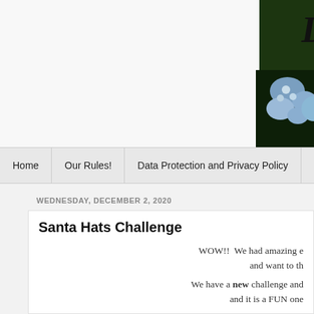[Figure (photo): Blog header banner with floral/nature photo (hydrangea flowers and green leaves) and partial cursive script logo text]
Home | Our Rules! | Data Protection and Privacy Policy
WEDNESDAY, DECEMBER 2, 2020
Santa Hats Challenge
WOW!! We had amazing e and want to th
We have a new challenge and it is a FUN one
We want to see SANTA H and have an inspiration boar